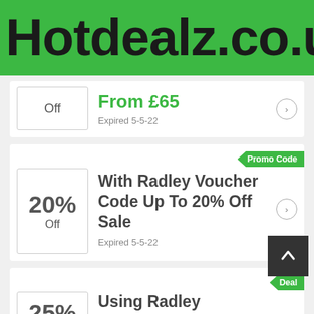Hotdealz.co.uk
Off | From £65 | Expired 5-5-22
Promo Code | 20% Off | With Radley Voucher Code Up To 20% Off Sale | Expired 5-5-22
Deal | 25% | Using Radley Discount Code Up